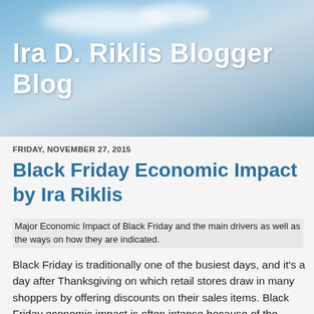[Figure (photo): Blog header banner with sky and landscape background, light blue tones with clouds]
Ira D. Riklis Blogger Blog
FRIDAY, NOVEMBER 27, 2015
Black Friday Economic Impact by Ira Riklis
Major Economic Impact of Black Friday and the main drivers as well as the ways on how they are indicated.
Black Friday is traditionally one of the busiest days, and it's a day after Thanksgiving on which retail stores draw in many shoppers by offering discounts on their sales items. Black Friday economic impact is often intense because of the people's impetus to spend during the holiday season with their lovely family and friends. Interestingly, National Retail Federation (NRF) statistics shows that 30 percent of retail sales during the season are made on Black Friday